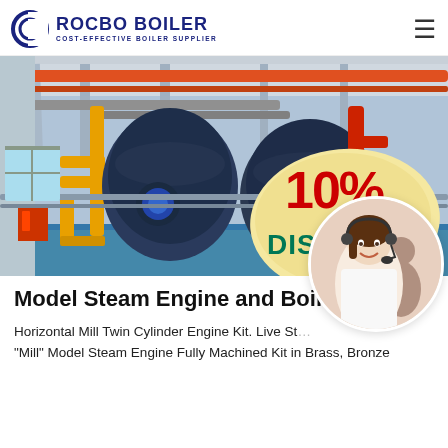ROCBO BOILER — COST-EFFECTIVE BOILER SUPPLIER
[Figure (photo): Industrial boiler room with large blue cylindrical boilers, yellow and red pipes, and a 10% DISCOUNT badge overlaid on the image.]
Model Steam Engine and Boiler P...
Horizontal Mill Twin Cylinder Engine Kit. Live Ste... "Mill" Model Steam Engine Fully Machined Kit in Brass, Bronze